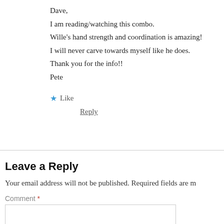Dave,
I am reading/watching this combo.
Wille's hand strength and coordination is amazing!
I will never carve towards myself like he does.
Thank you for the info!!
Pete
★ Like
Reply
Leave a Reply
Your email address will not be published. Required fields are m
Comment *